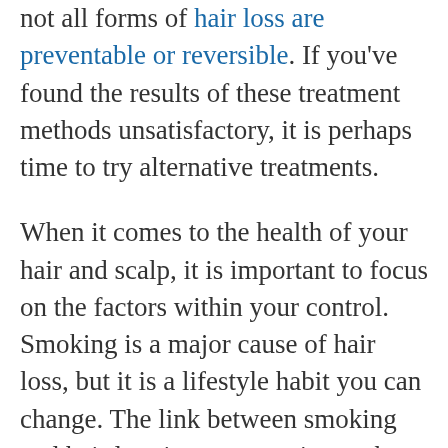not all forms of hair loss are preventable or reversible. If you've found the results of these treatment methods unsatisfactory, it is perhaps time to try alternative treatments.
When it comes to the health of your hair and scalp, it is important to focus on the factors within your control. Smoking is a major cause of hair loss, but it is a lifestyle habit you can change. The link between smoking and hair loss is strong, so it may be time to kick the habit. [1]
Changing your diet can also be beneficial for hair retention. Male-pattern baldness is mostly due to genetics, but healthy foods and plenty of water can give you the best chance at avoiding hair loss. If you are keen